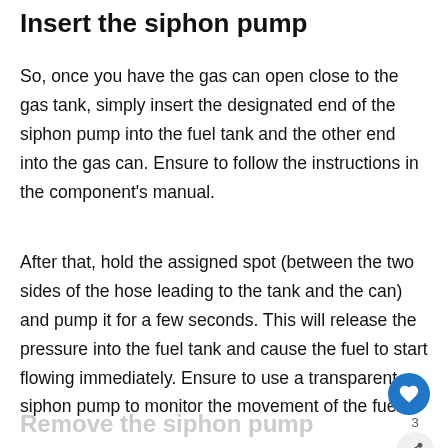Insert the siphon pump
So, once you have the gas can open close to the gas tank, simply insert the designated end of the siphon pump into the fuel tank and the other end into the gas can. Ensure to follow the instructions in the component's manual.
After that, hold the assigned spot (between the two sides of the hose leading to the tank and the can) and pump it for a few seconds. This will release the pressure into the fuel tank and cause the fuel to start flowing immediately. Ensure to use a transparent siphon pump to monitor the movement of the fuel.
Remove the siphon pump